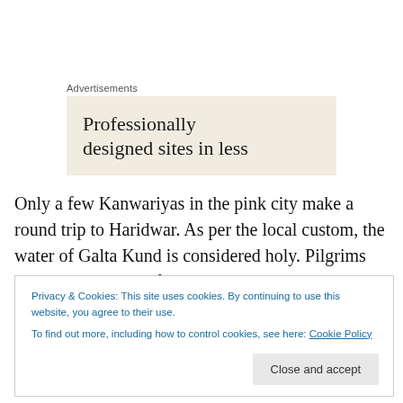Advertisements
[Figure (other): Advertisement banner with beige background showing text: Professionally designed sites in less]
Only a few Kanwariyas in the pink city make a round trip to Haridwar. As per the local custom, the water of Galta Kund is considered holy. Pilgrims walk to Galta Ji, to fetch the same. I have already written about Galta Ji in detail in this
Privacy & Cookies: This site uses cookies. By continuing to use this website, you agree to their use.
To find out more, including how to control cookies, see here: Cookie Policy
Close and accept
bold we site with head and see fitting in the